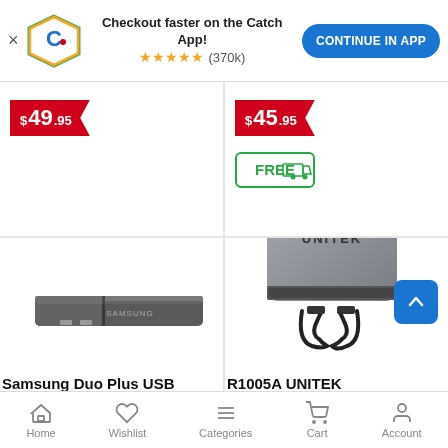[Figure (screenshot): App promotion banner with Catch.com.au logo, text 'Checkout faster on the Catch App!', 5-star rating (370k reviews), and 'CONTINUE IN APP' blue button]
$49.95
$45.95
[Figure (illustration): Free shipping badge with truck icon and FREE text in green]
[Figure (photo): Samsung Duo Plus USB flash drive, dark metallic gray, horizontal orientation]
[Figure (photo): R1005A UNITEK card reader device, silver/gray rectangular body with UNITEK branding and USB cables]
Samsung Duo Plus USB
R1005A UNITEK